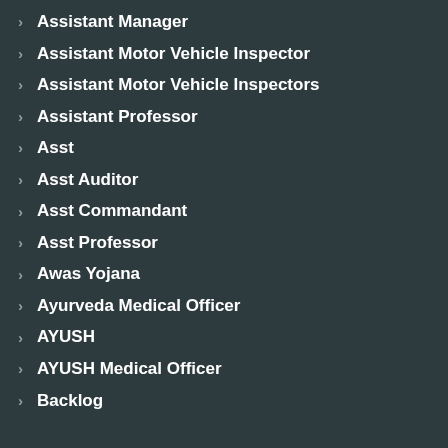Assistant Manager
Assistant Motor Vehicle Inspector
Assistant Motor Vehicle Inspectors
Assistant Professor
Asst
Asst Auditor
Asst Commandant
Asst Professor
Awas Yojana
Ayurveda Medical Officer
AYUSH
AYUSH Medical Officer
Backlog